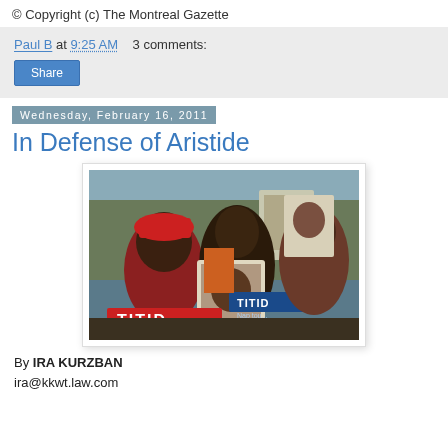© Copyright (c) The Montreal Gazette
Paul B at 9:25 AM    3 comments:
Share
Wednesday, February 16, 2011
In Defense of Aristide
[Figure (photo): Crowd of people at a protest holding signs and photos, some wearing red shirts with 'TITID' printed on them, showing support for Aristide.]
By IRA KURZBAN
ira@kkwt.law.com